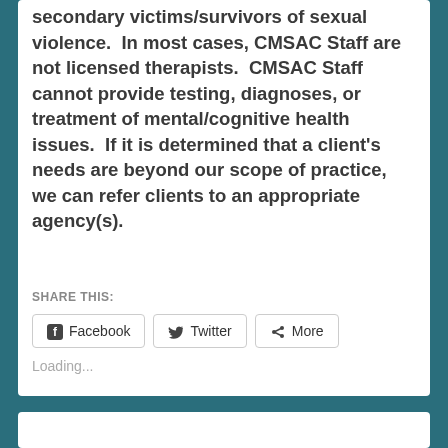secondary victims/survivors of sexual violence.  In most cases, CMSAC Staff are not licensed therapists.  CMSAC Staff cannot provide testing, diagnoses, or treatment of mental/cognitive health issues.  If it is determined that a client's needs are beyond our scope of practice, we can refer clients to an appropriate agency(s).
SHARE THIS:
Facebook
Twitter
More
Loading...